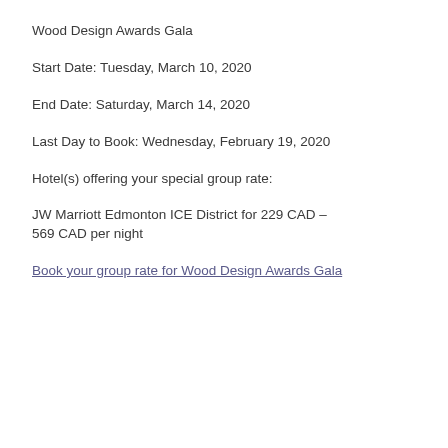Wood Design Awards Gala
Start Date: Tuesday, March 10, 2020
End Date: Saturday, March 14, 2020
Last Day to Book: Wednesday, February 19, 2020
Hotel(s) offering your special group rate:
JW Marriott Edmonton ICE District for 229 CAD – 569 CAD per night
Book your group rate for Wood Design Awards Gala